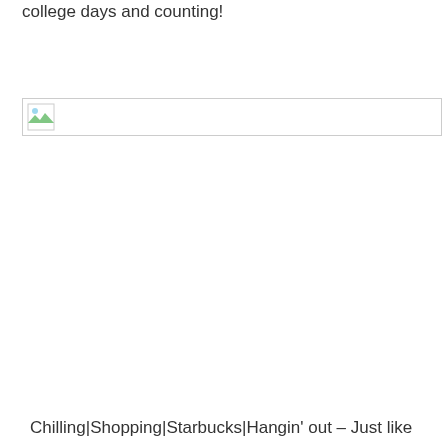college days and counting!
[Figure (photo): A broken/missing image placeholder shown as a small icon with a border, representing a photo that failed to load]
Chilling|Shopping|Starbucks|Hangin' out – Just like